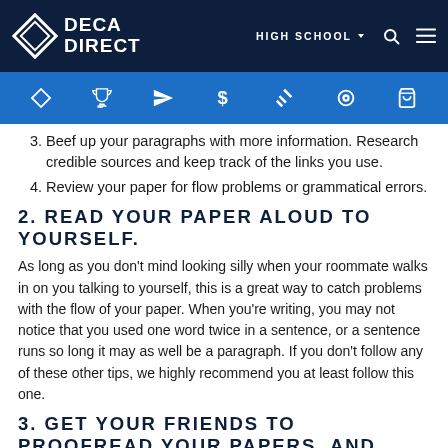DECA DIRECT — HIGH SCHOOL navigation bar with search and menu icons
[Figure (other): Blue icon bar with 7 white icons: diamond, trophy, paper airplane, dollar sign, gavel, camera/video, shopping bag]
3. Beef up your paragraphs with more information. Research credible sources and keep track of the links you use.
4. Review your paper for flow problems or grammatical errors.
2. READ YOUR PAPER ALOUD TO YOURSELF.
As long as you don't mind looking silly when your roommate walks in on you talking to yourself, this is a great way to catch problems with the flow of your paper. When you're writing, you may not notice that you used one word twice in a sentence, or a sentence runs so long it may as well be a paragraph. If you don't follow any of these other tips, we highly recommend you at least follow this one.
3. GET YOUR FRIENDS TO PROOFREAD YOUR PAPERS, AND PROOFREAD THEIRS.
One of the best ways to learn to catch mistakes is to practice helping other people catch theirs. The immediate benefit of proofreading is catching mistakes on that paper you're about to turn in. The long-term benefits help you fine-tune your brain to be more mindful of those mistakes when working